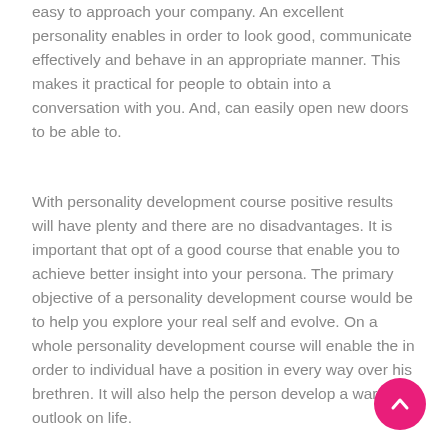easy to approach your company. An excellent personality enables in order to look good, communicate effectively and behave in an appropriate manner. This makes it practical for people to obtain into a conversation with you. And, can easily open new doors to be able to.
With personality development course positive results will have plenty and there are no disadvantages. It is important that opt of a good course that enable you to achieve better insight into your persona. The primary objective of a personality development course would be to help you explore your real self and evolve. On a whole personality development course will enable the in order to individual have a position in every way over his brethren. It will also help the person develop a warm outlook on life.